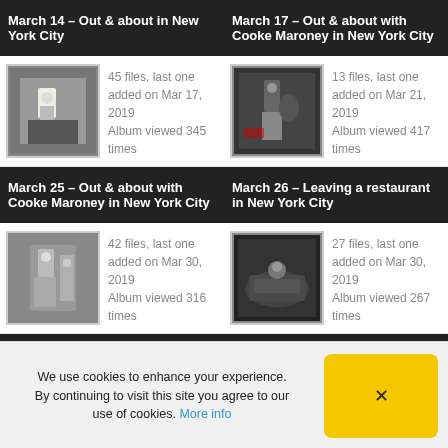March 14 – Out & about in New York City
45 files, last one added on Mar 17, 2019
Album viewed 345 times
[Figure (photo): Thumbnail photo of people walking in New York City]
March 17 – Out & about with Cooke Maroney in New York City
13 files, last one added on Mar 21, 2019
Album viewed 417 times
[Figure (photo): Thumbnail photo of people in New York City at night]
March 25 – Out & about with Cooke Maroney in New York City
42 files, last one added on Mar 30, 2019
Album viewed 316 times
[Figure (photo): Thumbnail photo of couple outside a building]
March 26 – Leaving a restaurant in New York City
27 files, last one added on Mar 30, 2019
Album viewed 267 times
[Figure (photo): Thumbnail photo of person in car at night]
We use cookies to enhance your experience. By continuing to visit this site you agree to our use of cookies. More info